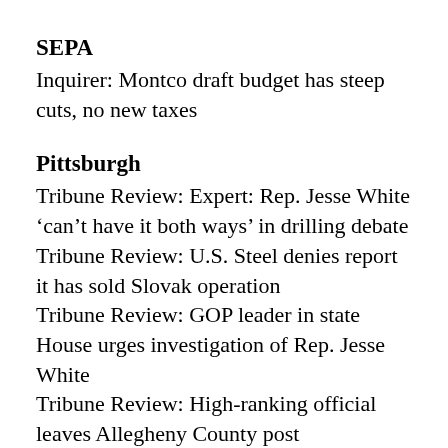SEPA
Inquirer: Montco draft budget has steep cuts, no new taxes
Pittsburgh
Tribune Review: Expert: Rep. Jesse White ‘can’t have it both ways’ in drilling debate
Tribune Review: U.S. Steel denies report it has sold Slovak operation
Tribune Review: GOP leader in state House urges investigation of Rep. Jesse White
Tribune Review: High-ranking official leaves Allegheny County post
Tribune Review: Residents oppose plan for restrictions on Parkway East on-ramps
Tribune Review: Wisconsin-based atheists foundation answers citizens’ calls to defend